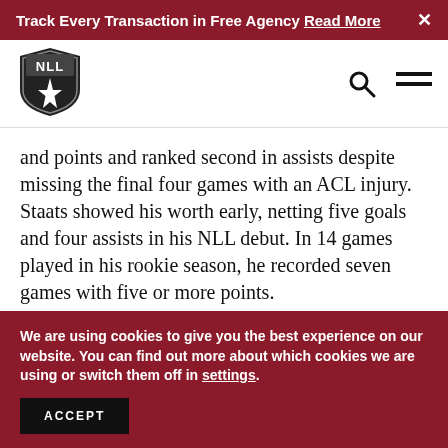Track Every Transaction in Free Agency Read More ×
[Figure (logo): NLL (National Lacrosse League) shield logo with white star/compass design on black background]
and points and ranked second in assists despite missing the final four games with an ACL injury. Staats showed his worth early, netting five goals and four assists in his NLL debut. In 14 games played in his rookie season, he recorded seven games with five or more points.
The lefty led the team in points eleven weeks in a
We are using cookies to give you the best experience on our website. You can find out more about which cookies we are using or switch them off in settings.